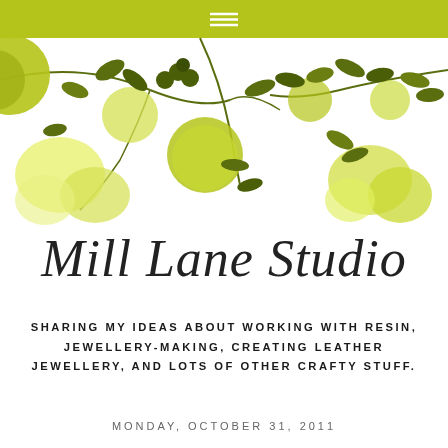[Figure (illustration): Decorative floral banner with lime green and olive green leaves, flowers, and berries on a white background with a lime green navigation bar at top containing a hamburger menu icon]
Mill Lane Studio
SHARING MY IDEAS ABOUT WORKING WITH RESIN, JEWELLERY-MAKING, CREATING LEATHER JEWELLERY, AND LOTS OF OTHER CRAFTY STUFF.
MONDAY, OCTOBER 31, 2011